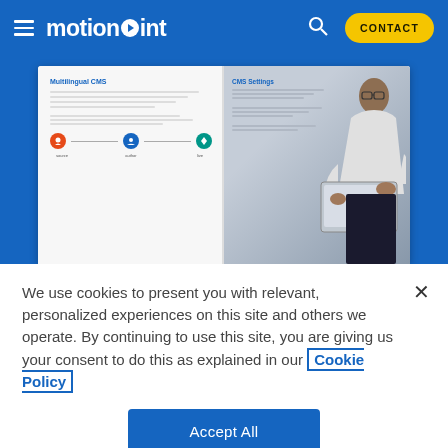motionpoint — CONTACT
[Figure (photo): Open book/guide showing 'Multilingual CMS' content on left page with diagram icons, and a professional man holding a laptop on right page background]
We use cookies to present you with relevant, personalized experiences on this site and others we operate. By continuing to use this site, you are giving us your consent to do this as explained in our Cookie Policy
Accept All